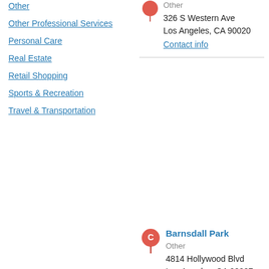Other
Other Professional Services
Personal Care
Real Estate
Retail Shopping
Sports & Recreation
Travel & Transportation
Other
326 S Western Ave
Los Angeles, CA 90020
Contact info
Barnsdall Park
Other
4814 Hollywood Blvd
Los Angeles, CA 90027